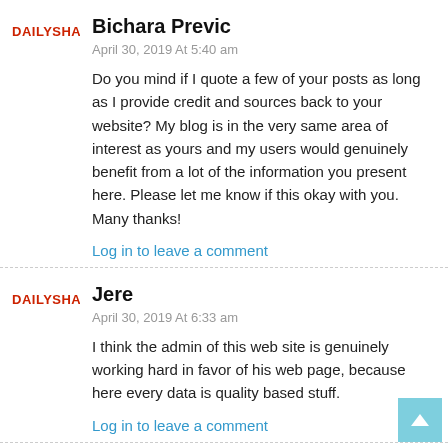[Figure (logo): DailyShark logo in red text]
Bichara Previc
April 30, 2019 At 5:40 am
Do you mind if I quote a few of your posts as long as I provide credit and sources back to your website? My blog is in the very same area of interest as yours and my users would genuinely benefit from a lot of the information you present here. Please let me know if this okay with you. Many thanks!
Log in to leave a comment
[Figure (logo): DailyShark logo in red text]
Jere
April 30, 2019 At 6:33 am
I think the admin of this web site is genuinely working hard in favor of his web page, because here every data is quality based stuff.
Log in to leave a comment